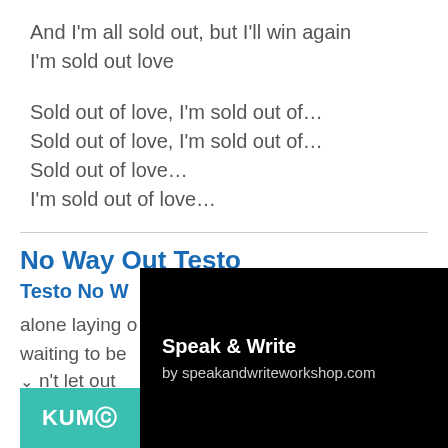And I'm all sold out, but I'll win again
I'm sold out love
Sold out of love, I'm sold out of...
Sold out of love, I'm sold out of...
Sold out of love...
I'm sold out of love...
No Way Out Testo
Testo No W
alone laying o
waiting to be
n't let out
[Figure (screenshot): Black popup overlay with text 'Speak & Write by speakandwrititeworkshop.com']
[Figure (other): Teal/green KUMO button at bottom left]